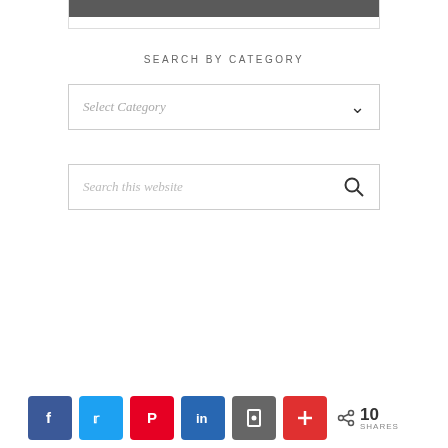[Figure (screenshot): Top portion of a content box with a dark grey/charcoal bar at the top and a white area below, bordered by a thin grey border]
SEARCH BY CATEGORY
[Figure (screenshot): A dropdown select box with placeholder text 'Select Category' and a down chevron arrow on the right]
[Figure (screenshot): A search input box with placeholder text 'Search this website' and a magnifying glass icon on the right]
[Figure (screenshot): Social sharing bar at the bottom with Facebook, Twitter, Pinterest, LinkedIn, Save, and More buttons, plus a share count showing 10 SHARES]